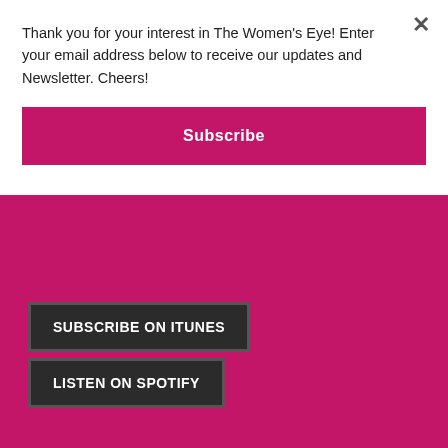Thank you for your interest in The Women's Eye! Enter your email address below to receive our updates and Newsletter. Cheers!
Subscribe
SUBSCRIBE ON ITUNES
LISTEN ON SPOTIFY
Search our Archives
Search this website